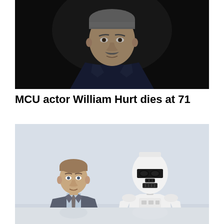[Figure (photo): Man in dark navy suit with dark tie, standing outdoors with blurred dark background. Close-up portrait showing face with mustache.]
MCU actor William Hurt dies at 71
[Figure (photo): Man in grey suit with light blue tie standing next to a white Star Wars Stormtrooper character in white armor, photographed outdoors against a light sky background.]